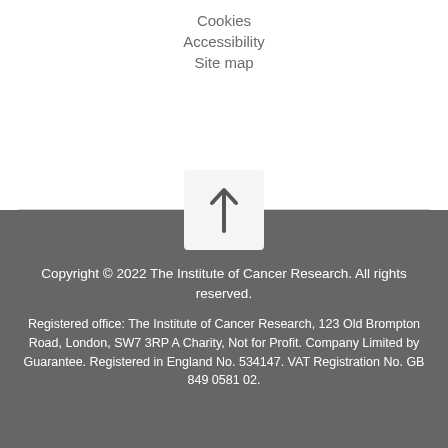Cookies
Accessibility
Site map
Copyright © 2022 The Institute of Cancer Research. All rights reserved.

Registered office: The Institute of Cancer Research, 123 Old Brompton Road, London, SW7 3RP A Charity, Not for Profit. Company Limited by Guarantee. Registered in England No. 534147. VAT Registration No. GB 849 0581 02.